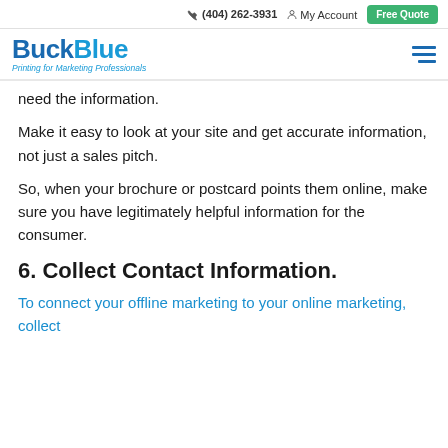(404) 262-3931  My Account  Free Quote
[Figure (logo): BuckBlue logo with tagline: Printing for Marketing Professionals]
need the information.
Make it easy to look at your site and get accurate information, not just a sales pitch.
So, when your brochure or postcard points them online, make sure you have legitimately helpful information for the consumer.
6. Collect Contact Information.
To connect your offline marketing to your online marketing, collect